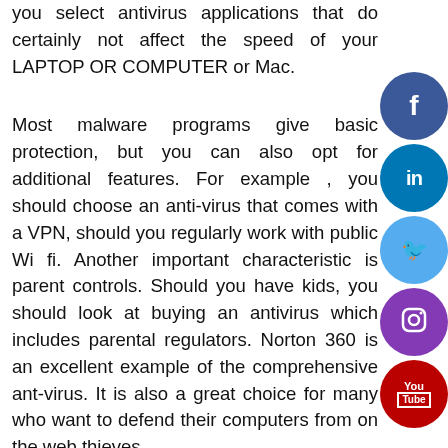you select antivirus applications that do certainly not affect the speed of your LAPTOP OR COMPUTER or Mac.
Most malware programs give basic protection, but you can also opt for additional features. For example , you should choose an anti-virus that comes with a VPN, should you regularly work with public Wi fi. Another important characteristic is parent controls. Should you have kids, you should look at buying an antivirus which includes parental regulators. Norton 360 is an excellent example of the comprehensive ant-virus. It is also a great choice for many who want to defend their computers from on the web thieves.
Though most of these antivirus security software applications cost you a subscription, the first calendar year is normally cheaper. If you choose to quickly renew, you will need to pay the total retail cost for the next 12 months. Nevertheless , there are many anti-virus